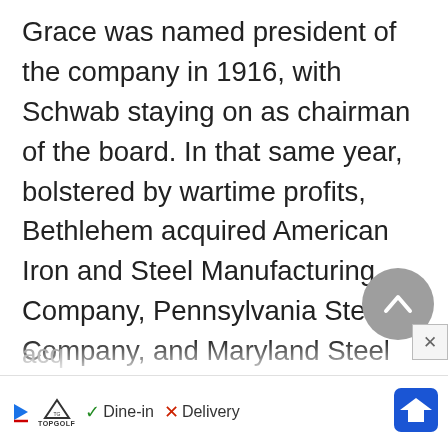Grace was named president of the company in 1916, with Schwab staying on as chairman of the board. In that same year, bolstered by wartime profits, Bethlehem acquired American Iron and Steel Manufacturing Company, Pennsylvania Steel Company, and Maryland Steel Company. In the years following World War I, the company continued its growth with the acquisition of Lackawanna Steel & Ore...
[Figure (other): Scroll-to-top circular grey button with chevron/caret up arrow]
[Figure (other): Advertisement banner: TopGolf logo, Dine-in (green checkmark), Delivery (red X), navigation arrow icon (blue diamond)]